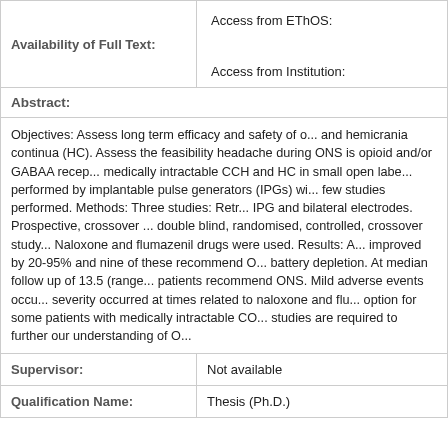| Availability of Full Text: |  |
| --- | --- |
| Availability of Full Text: | Access from EThOS:

Access from Institution: |
Abstract:
Objectives: Assess long term efficacy and safety of o... and hemicrania continua (HC). Assess the feasibility headache during ONS is opioid and/or GABAA recep... medically intractable CCH and HC in small open labe... performed by implantable pulse generators (IPGs) wi... few studies performed. Methods: Three studies: Retr... IPG and bilateral electrodes. Prospective, crossover ... double blind, randomised, controlled, crossover study... Naloxone and flumazenil drugs were used. Results: A... improved by 20-95% and nine of these recommend O... battery depletion. At median follow up of 13.5 (range... patients recommend ONS. Mild adverse events occu... severity occurred at times related to naloxone and flu... option for some patients with medically intractable CO... studies are required to further our understanding of O...
| Supervisor: | Not available |
| --- | --- |
| Supervisor: | Not available |
| Qualification Name: | Thesis (Ph.D.) |